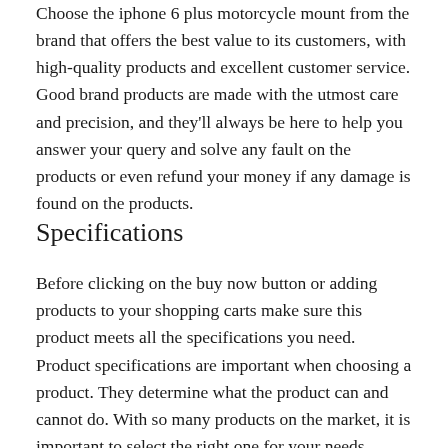Choose the iphone 6 plus motorcycle mount from the brand that offers the best value to its customers, with high-quality products and excellent customer service. Good brand products are made with the utmost care and precision, and they'll always be here to help you answer your query and solve any fault on the products or even refund your money if any damage is found on the products.
Specifications
Before clicking on the buy now button or adding products to your shopping carts make sure this product meets all the specifications you need.
Product specifications are important when choosing a product. They determine what the product can and cannot do. With so many products on the market, it is important to select the right one for your needs.